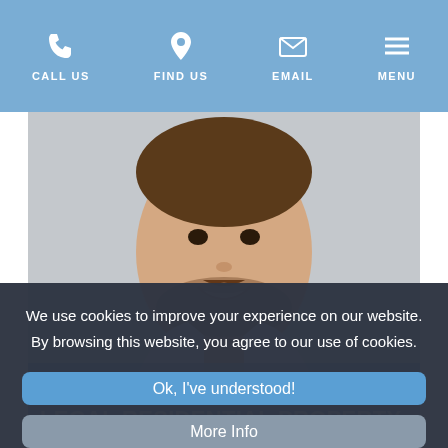CALL US  FIND US  EMAIL  MENU
[Figure (photo): Headshot photo of John Corkill, a young man with a beard and moustache, smiling, wearing a light-coloured shirt, against a grey background]
JOHN CORKILL JOINS THE GAD LEGAL RESIDENTIAL PROPERTY
We use cookies to improve your experience on our website. By browsing this website, you agree to our use of cookies.
Ok, I've understood!
More Info